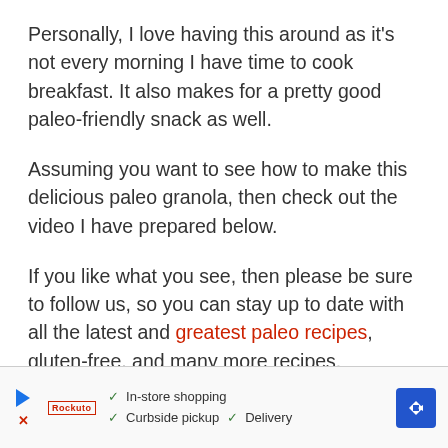Personally, I love having this around as it's not every morning I have time to cook breakfast. It also makes for a pretty good paleo-friendly snack as well.
Assuming you want to see how to make this delicious paleo granola, then check out the video I have prepared below.
If you like what you see, then please be sure to follow us, so you can stay up to date with all the latest and greatest paleo recipes, gluten-free, and many more recipes.
[Figure (other): Advertisement banner showing store shopping options: In-store shopping, Curbside pickup, Delivery with a navigation/map icon on the right.]